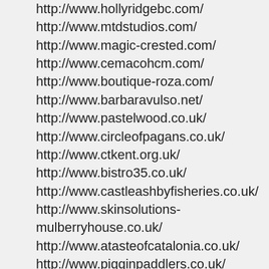http://www.hollyridgebc.com/
http://www.mtdstudios.com/
http://www.magic-crested.com/
http://www.cemacohcm.com/
http://www.boutique-roza.com/
http://www.barbaravulso.net/
http://www.pastelwood.co.uk/
http://www.circleofpagans.co.uk/
http://www.ctkent.org.uk/
http://www.bistro35.co.uk/
http://www.castleashbyfisheries.co.uk/
http://www.skinsolutions-mulberryhouse.co.uk/
http://www.atasteofcatalonia.co.uk/
http://www.pigginpaddlers.co.uk/
http://www.editorialresources.co.uk/